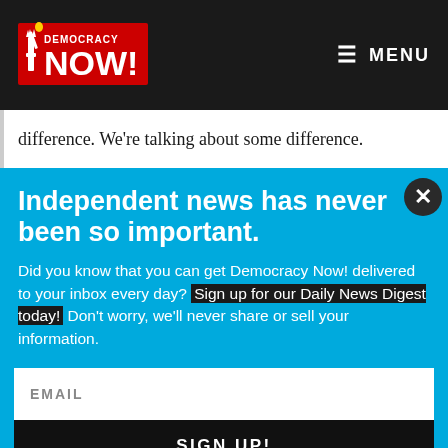Democracy Now! — MENU
difference. We're talking about some difference.
Independent news has never been so important.
Did you know that you can get Democracy Now! delivered to your inbox every day? Sign up for our Daily News Digest today! Don't worry, we'll never share or sell your information.
EMAIL
SIGN UP!